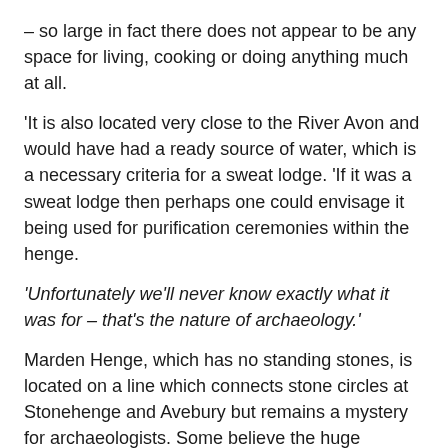– so large in fact there does not appear to be any space for living, cooking or doing anything much at all.
'It is also located very close to the River Avon and would have had a ready source of water, which is a necessary criteria for a sweat lodge. 'If it was a sweat lodge then perhaps one could envisage it being used for purification ceremonies within the henge.
'Unfortunately we'll never know exactly what it was for – that's the nature of archaeology.'
Marden Henge, which has no standing stones, is located on a line which connects stone circles at Stonehenge and Avebury but remains a mystery for archaeologists. Some believe the huge Stonehenge megaliths were stored there after being dragged from Avebury.